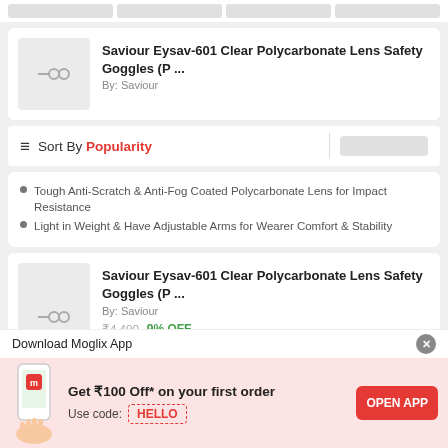Navigation bar (placeholder)
[Figure (screenshot): Product image placeholder for Saviour Eysav-601 Safety Goggles (first card)]
Saviour Eysav-601 Clear Polycarbonate Lens Safety Goggles (P ...
By: Saviour
Sort By Popularity
Tough Anti-Scratch & Anti-Fog Coated Polycarbonate Lens for Impact Resistance
Light in Weight & Have Adjustable Arms for Wearer Comfort & Stability
[Figure (screenshot): Product image placeholder for Saviour Eysav-601 Safety Goggles (second card)]
Saviour Eysav-601 Clear Polycarbonate Lens Safety Goggles (P ...
By: Saviour
₹4,490  9% OFF
₹4,080
BUY NOW
Download Moglix App
Get ₹100 Off* on your first order
Use code: HELLO
OPEN APP